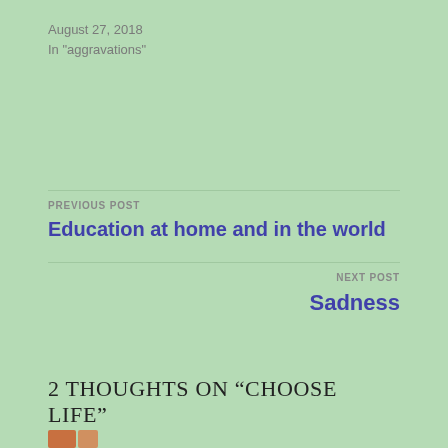August 27, 2018
In "aggravations"
PREVIOUS POST
Education at home and in the world
NEXT POST
Sadness
2 THOUGHTS ON “CHOOSE LIFE”